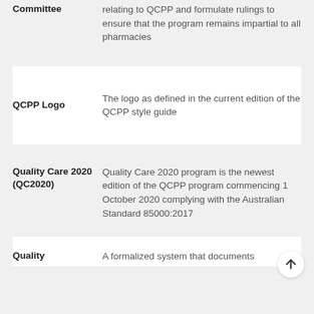| Term | Definition |
| --- | --- |
| Committee | relating to QCPP and formulate rulings to ensure that the program remains impartial to all pharmacies |
| QCPP Logo | The logo as defined in the current edition of the QCPP style guide |
| Quality Care 2020 (QC2020) | Quality Care 2020 program is the newest edition of the QCPP program commencing 1 October 2020 complying with the Australian Standard 85000:2017 |
| Quality | A formalized system that documents |